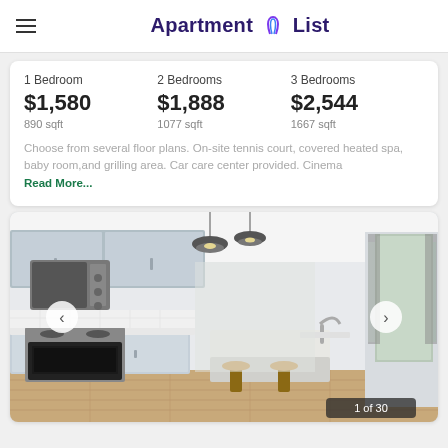Apartment List
| 1 Bedroom | 2 Bedrooms | 3 Bedrooms |
| --- | --- | --- |
| $1,580 | $1,888 | $2,544 |
| 890 sqft | 1077 sqft | 1667 sqft |
Choose from several floor plans. On-site tennis court, covered heated spa, baby room,and grilling area. Car care center provided. Cinema Read More...
[Figure (photo): Interior photo of a modern apartment kitchen with gray cabinets, stainless steel appliances, pendant lights, kitchen island with bar stools, and hardwood floors. Shows 1 of 30.]